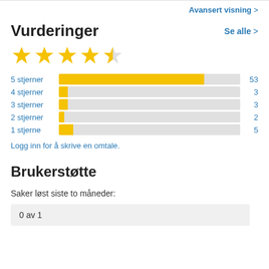Avansert visning
Vurderinger
Se alle >
[Figure (other): 4.5 out of 5 stars rating: 4 full yellow stars and 1 half star]
[Figure (bar-chart): Rating distribution]
Logg inn for å skrive en omtale.
Brukerstøtte
Saker løst siste to måneder:
0 av 1